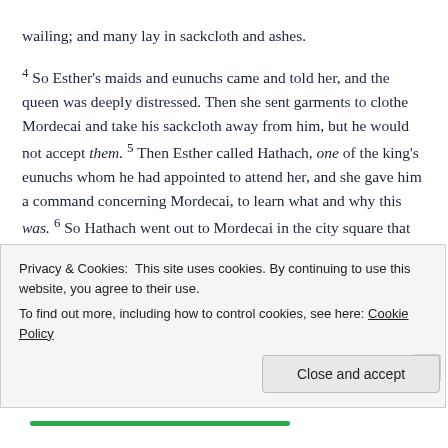wailing; and many lay in sackcloth and ashes.
4 So Esther's maids and eunuchs came and told her, and the queen was deeply distressed. Then she sent garments to clothe Mordecai and take his sackcloth away from him, but he would not accept them. 5 Then Esther called Hathach, one of the king's eunuchs whom he had appointed to attend her, and she gave him a command concerning Mordecai, to learn what and why this was. 6 So Hathach went out to Mordecai in the city square that was in front of the king's gate. 7 And Mordecai told him all that had happened to him, and the sum of money that Haman had
Privacy & Cookies: This site uses cookies. By continuing to use this website, you agree to their use.
To find out more, including how to control cookies, see here: Cookie Policy
Close and accept